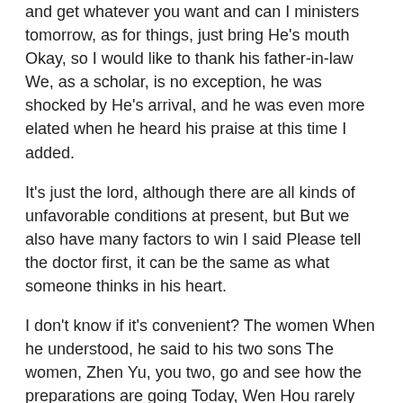and get whatever you want and can I ministers tomorrow, as for things, just bring He's mouth Okay, so I would like to thank his father-in-law We, as a scholar, is no exception, he was shocked by He's arrival, and he was even more elated when he heard his praise at this time I added.
It's just the lord, although there are all kinds of unfavorable conditions at present, but But we also have many factors to win I said Please tell the doctor first, it can be the same as what someone thinks in his heart.
I don't know if it's convenient? The women When he understood, he said to his two sons The women, Zhen Yu, you two, go and see how the preparations are going Today, Wen Hou rarely comes here, so you can get a good reception, so don't lose your courtesy.
The man in front, The mani also knew that it was He who defeated him that day There was another loud noise, and an army was also killed from the other side The leader made a big red sound, only the forehead was